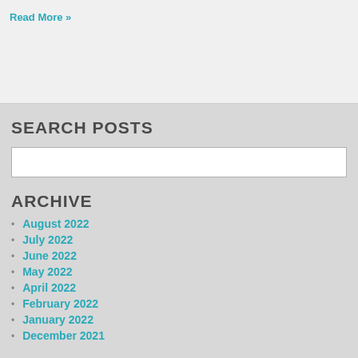Read More »
SEARCH POSTS
ARCHIVE
August 2022
July 2022
June 2022
May 2022
April 2022
February 2022
January 2022
December 2021